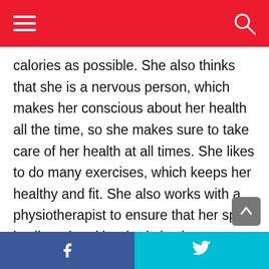calories as possible. She also thinks that she is a nervous person, which makes her conscious about her health all the time, so she makes sure to take care of her health at all times. She likes to do many exercises, which keeps her healthy and fit. She also works with a physiotherapist to ensure that her spine is aligned and her body is always relaxed. She does a lot of things to burn her calories and makes sure to work hard and keep her body active when it comes to her weight. Changing eating habits can change a lot of things for people, and it makes everything better health-wise. It is imperative to take care of your
f  🐦